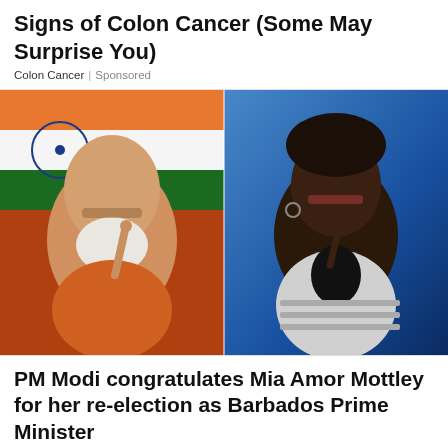Signs of Colon Cancer (Some May Surprise You)
Colon Cancer | Sponsored
[Figure (photo): Side-by-side photos: left shows PM Narendra Modi in orange attire against Indian flag backdrop, pointing finger upward; right shows Mia Amor Mottley in white jacket against blue backdrop, pointing finger upward.]
PM Modi congratulates Mia Amor Mottley for her re-election as Barbados Prime Minister
Prime Minister Narendra Modi on Friday congratulated Mia Amor Mottley for the resounding victory of her party in the …
Jamaica News